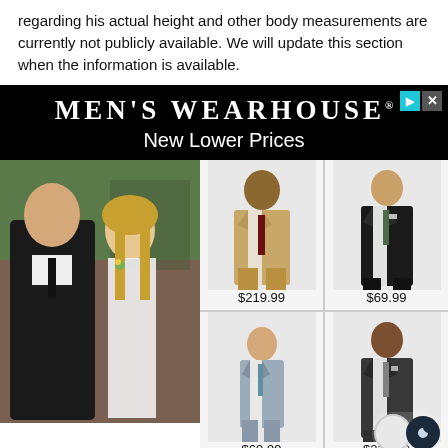regarding his actual height and other body measurements are currently not publicly available. We will update this section when the information is available.
[Figure (advertisement): Men's Wearhouse advertisement with 'New Lower Prices' tagline, showing a hero photo of a man in a black tuxedo with a woman in a white dress, and four product suit photos with prices: $219.99, $69.99, $69.99, $229.99]